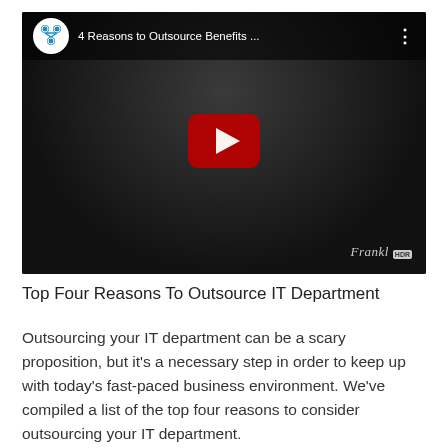[Figure (screenshot): YouTube video thumbnail showing a woman in a dark room with a YouTube play button overlay. Video title bar reads '4 Reasons to Outsource Benefits ...' with a YouTube/company logo. Bottom-right shows 'Frankl' watermark with a badge.]
Top Four Reasons To Outsource IT Department
Outsourcing your IT department can be a scary proposition, but it's a necessary step in order to keep up with today's fast-paced business environment. We've compiled a list of the top four reasons to consider outsourcing your IT department.